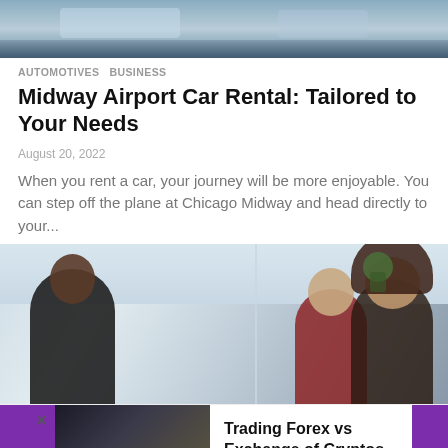[Figure (photo): Top image showing hands or car rental related view, cropped]
AUTOMOTIVES  BUSINESS
Midway Airport Car Rental: Tailored to Your Needs
August 20, 2022
When you rent a car, your journey will be more enjoyable. You can step off the plane at Chicago Midway and head directly to your...
[Figure (photo): Office meeting scene with three people — a Black woman on left, a man in red in center, and a woman with long brown hair on right]
[Figure (screenshot): Promotional banner: Trading Forex vs Exchange of Cryptos, Which Is the Most Profitable Option? with purple navigation arrows and thumbnail of person using tablet in car]